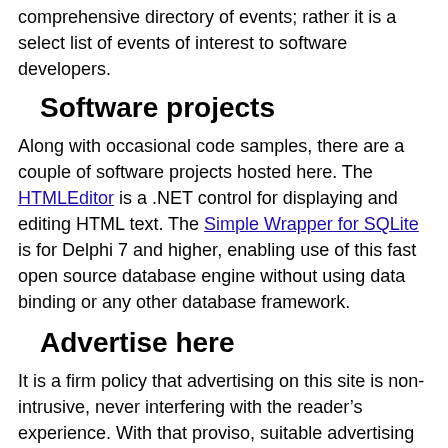comprehensive directory of events; rather it is a select list of events of interest to software developers.
Software projects
Along with occasional code samples, there are a couple of software projects hosted here. The HTMLEditor is a .NET control for displaying and editing HTML text. The Simple Wrapper for SQLite is for Delphi 7 and higher, enabling use of this fast open source database engine without using data binding or any other database framework.
Advertise here
It is a firm policy that advertising on this site is non-intrusive, never interfering with the reader’s experience. With that proviso, suitable advertising is accepted and the details are here.
Contact